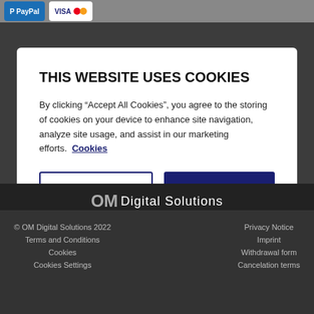[Figure (screenshot): PayPal and Visa/Mastercard payment logos on dark background top bar]
THIS WEBSITE USES COOKIES
By clicking “Accept All Cookies”, you agree to the storing of cookies on your device to enhance site navigation, analyze site usage, and assist in our marketing efforts.  Cookies
Reject All
Accept All Cookies
Cookies Settings
[Figure (logo): OM Digital Solutions logo]
© OM Digital Solutions 2022
Terms and Conditions
Cookies
Cookies Settings
Privacy Notice
Imprint
Withdrawal form
Cancelation terms